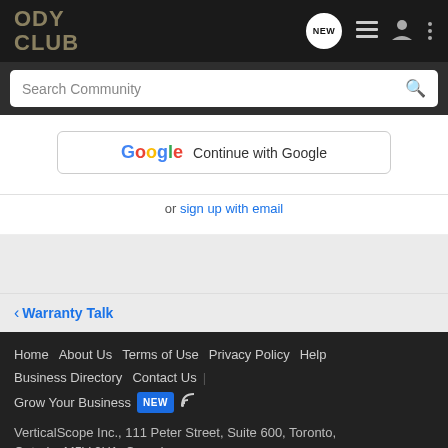ODY CLUB
Search Community
Continue with Google
or sign up with email
< Warranty Talk
Home  About Us  Terms of Use  Privacy Policy  Help  Business Directory  Contact Us  |  Grow Your Business  NEW  [RSS]  VerticalScope Inc., 111 Peter Street, Suite 600, Toronto, Ontario, M5V 2H1, Canada  The Fora platform includes forum software by XenForo